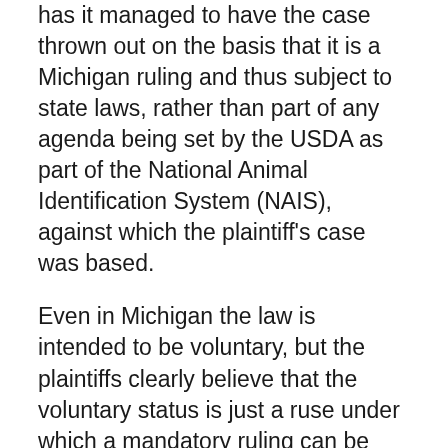has it managed to have the case thrown out on the basis that it is a Michigan ruling and thus subject to state laws, rather than part of any agenda being set by the USDA as part of the National Animal Identification System (NAIS), against which the plaintiff's case was based.
Even in Michigan the law is intended to be voluntary, but the plaintiffs clearly believe that the voluntary status is just a ruse under which a mandatory ruling can be later implemented, which would threaten their livelihoods, or eternal souls, as appropriate. It's worth noting, as the Judge did, that even Amish cattle already have numbered metal ear studs, so the contention that numbering cattle is against God's law was already in shaky ground.
As for the USDA agenda, RFID Journal covers the case in some detail including quotes from a Michigan